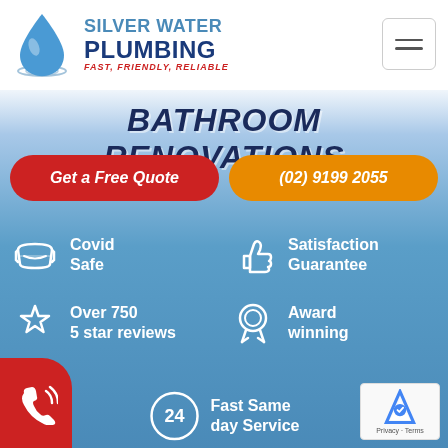[Figure (logo): Silver Water Plumbing logo with blue water droplet, text 'SILVER WATER PLUMBING' and tagline 'FAST, FRIENDLY, RELIABLE']
BATHROOM RENOVATIONS
Get a Free Quote
(02) 9199 2055
Covid Safe
Satisfaction Guarantee
Over 750 5 star reviews
Award winning
Fast Same day Service